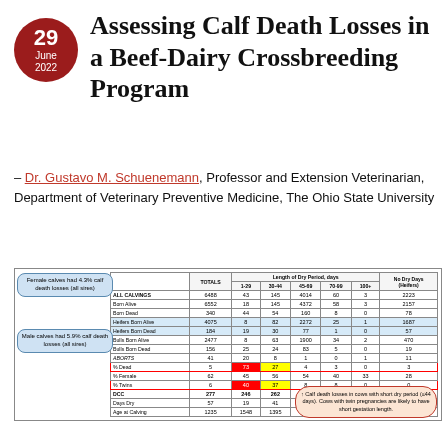Assessing Calf Death Losses in a Beef-Dairy Crossbreeding Program
– Dr. Gustavo M. Schuenemann, Professor and Extension Veterinarian, Department of Veterinary Preventive Medicine, The Ohio State University
|  | TOTALS | 1-29 | 30-44 | 45-69 | 70-99 | 100+ | No Dry Days (Heifers) |
| --- | --- | --- | --- | --- | --- | --- | --- |
| ALL CALVINGS | 6488 | 43 | 145 | 4014 | 60 | 3 | 2223 |
| Born Alive | 6552 | 18 | 145 | 4372 | 58 | 3 | 2157 |
| Born Dead | 340 | 44 | 54 | 160 | 8 | 0 | 78 |
| Heifers Born Alive | 4075 | 8 | 82 | 2272 | 25 | 1 | 1687 |
| Heifers Born Dead | 184 | 19 | 30 | 77 | 1 | 0 | 57 |
| Bulls Born Alive | 2477 | 8 | 63 | 1900 | 34 | 2 | 470 |
| Bulls Born Dead | 156 | 25 | 24 | 83 | 5 | 0 | 19 |
| ABORTS | 41 | 20 | 8 | 1 | 0 | 1 | 11 |
| % Dead | 5 | 73 | 27 | 4 | 3 | 0 | 3 |
| % Female | 62 | 45 | 56 | 54 | 40 | 33 | 28 |
| % Twins | 6 | 40 | 37 | 8 | 8 | 0 | 0 |
| DCC | 277 | 246 | 262 | 279 | 290 | 282 | 275 |
| Days Dry | 57 | 19 | 41 | 57 | 75 | 305 | 1 |
| Age at Calving | 1235 | 1548 | 1395 | 1518 | 1505 | 2011 | 688 |